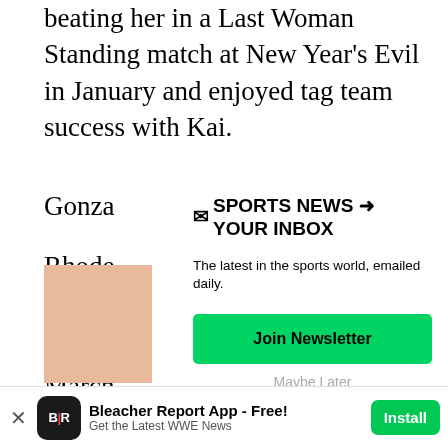beating her in a Last Woman Standing match at New Year's Evil in January and enjoyed tag team success with Kai.
Gonza
Rhode
crown
March
that sa
It quic
though
a matc
[Figure (infographic): Newsletter signup popup overlay with title 'SPORTS NEWS → YOUR INBOX', subtitle 'The latest in the sports world, emailed daily.', a green 'Join Newsletter' button, and a 'Maybe Later' link]
[Figure (photo): Partial image showing skin-toned/peach colored area, likely a person's photo cropped]
[Figure (infographic): App install banner for Bleacher Report App - Free! with BR logo icon, subtitle 'Get the Latest WWE News' and green Install button]